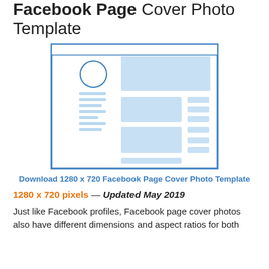Facebook Page Cover Photo Template
[Figure (illustration): Wireframe mockup of a Facebook Page layout showing a profile circle, cover photo area, and content blocks arranged in a typical Facebook page structure. Blue outlined rectangle with light blue placeholder content blocks inside.]
Download 1280 x 720 Facebook Page Cover Photo Template
1280 x 720 pixels — Updated May 2019
Just like Facebook profiles, Facebook page cover photos also have different dimensions and aspect ratios for both